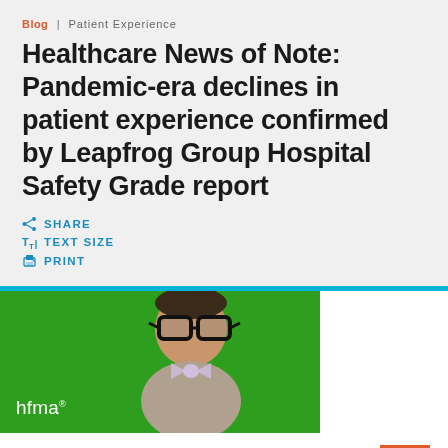Blog | Patient Experience
Healthcare News of Note: Pandemic-era declines in patient experience confirmed by Leapfrog Group Hospital Safety Grade report
SHARE
TEXT SIZE
PRINT
[Figure (photo): HFMA advertisement banner showing a child wearing oversized glasses and a bow tie against a green background, with 'hfma' logo in white text at the bottom left]